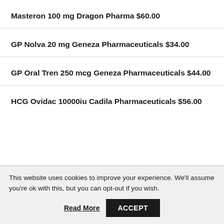Masteron 100 mg Dragon Pharma $60.00
GP Nolva 20 mg Geneza Pharmaceuticals $34.00
GP Oral Tren 250 mcg Geneza Pharmaceuticals $44.00
HCG Ovidac 10000iu Cadila Pharmaceuticals $56.00
This website uses cookies to improve your experience. We'll assume you're ok with this, but you can opt-out if you wish.
Read More | ACCEPT